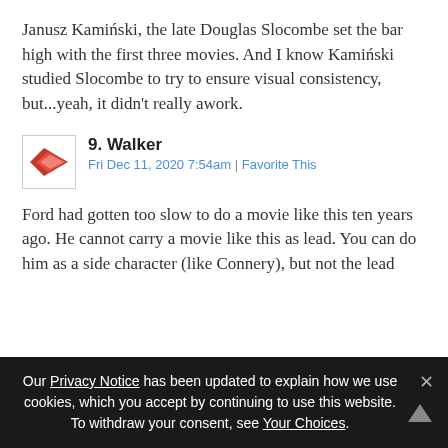Janusz Kamiński, the late Douglas Slocombe set the bar high with the first three movies. And I know Kamiński studied Slocombe to try to ensure visual consistency, but...yeah, it didn't really awork.
9. Walker
Fri Dec 11, 2020 7:54am | Favorite This
Ford had gotten too slow to do a movie like this ten years ago. He cannot carry a movie like this as lead. You can do him as a side character (like Connery), but not the lead
Our Privacy Notice has been updated to explain how we use cookies, which you accept by continuing to use this website. To withdraw your consent, see Your Choices.